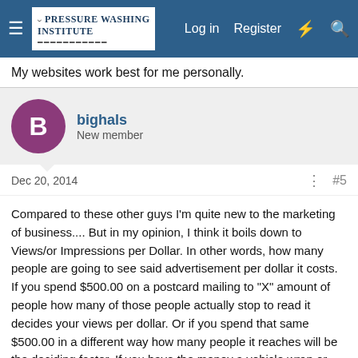Pressure Washing Institute — Log in  Register
My websites work best for me personally.
bighals
New member
Dec 20, 2014  #5
Compared to these other guys I'm quite new to the marketing of business.... But in my opinion, I think it boils down to Views/or Impressions per Dollar. In other words, how many people are going to see said advertisement per dollar it costs. If you spend $500.00 on a postcard mailing to "X" amount of people how many of those people actually stop to read it decides your views per dollar. Or if you spend that same $500.00 in a different way how many people it reaches will be the deciding factor. If you have the money a vehicle wrap or just big ole signs on the sides of your vehicle will be a very good ratio of views per dollar. Everywhere you go you're driving a rolling billboard with your